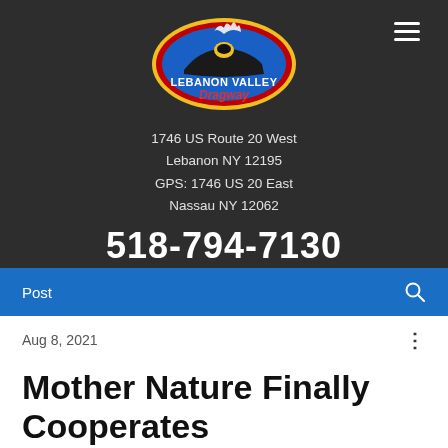[Figure (logo): Lebanon Valley Dragway logo — oval emblem with a drag racing car, red/yellow/blue colors, text 'Lebanon Valley Dragway']
1746 US Route 20 West
Lebanon NY 12195
GPS: 1746 US 20 East
Nassau NY 12062
518-794-7130
Post
Aug 8, 2021
Mother Nature Finally Cooperates